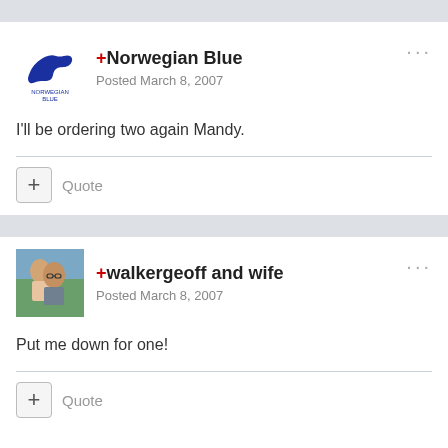+Norwegian Blue
Posted March 8, 2007
I'll be ordering two again Mandy.
+ Quote
+walkergeoff and wife
Posted March 8, 2007
Put me down for one!
+ Quote